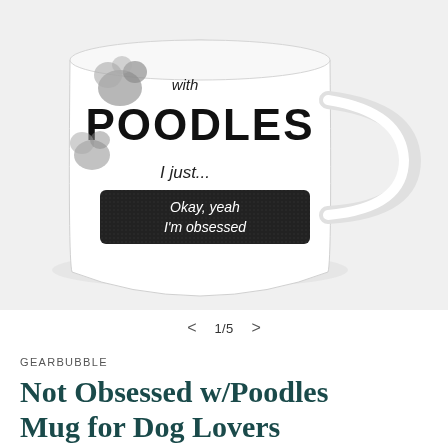[Figure (photo): A white ceramic coffee mug with black graphic text reading 'with POODLES I just... Okay, yeah I'm obsessed' with poodle silhouette graphics in gray]
< 1/5 >
GEARBUBBLE
Not Obsessed w/Poodles Mug for Dog Lovers